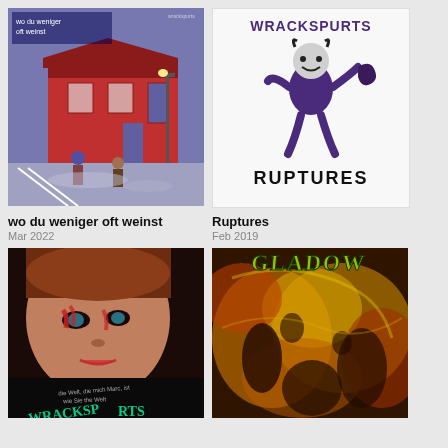[Figure (photo): Album cover for 'wo du weniger oft weinst' — illustrated scene of a red train station building with figures, purple/blue tones, text overlay]
[Figure (illustration): Album cover for 'Ruptures' by Wrackspurts — white background with hand-drawn purple figure and text 'WRACKSPURTS' at top and 'RUPTURES' at bottom]
wo du weniger oft weinst
Mar 2022
Ruptures
Feb 2019
[Figure (photo): Album cover — close-up photo of a child's face with red paint/makeup marks, dark background with graffiti-style 'Wrackspurts' text]
[Figure (photo): Album cover — colorful chaotic concert/crowd scene with 'GLADOW' text overlay in yellow-green graffiti style]